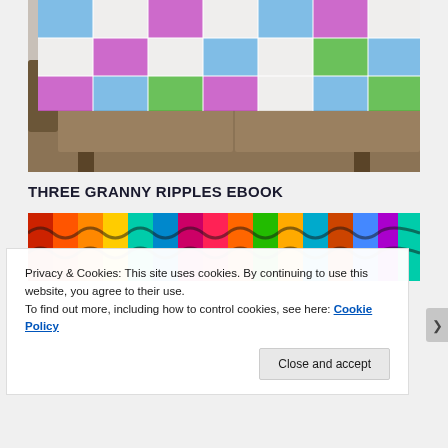[Figure (photo): Colorful crochet granny square blanket draped over a brown sofa, with a rug visible on the floor below. The blanket features blue, pink/purple, green, and white squares in a geometric pattern.]
THREE GRANNY RIPPLES EBOOK
[Figure (photo): Close-up of colorful ripple crochet patterns in bright rainbow colors including red, orange, yellow, teal, blue, purple, and pink on a dark background.]
Privacy & Cookies: This site uses cookies. By continuing to use this website, you agree to their use.
To find out more, including how to control cookies, see here: Cookie Policy
Close and accept